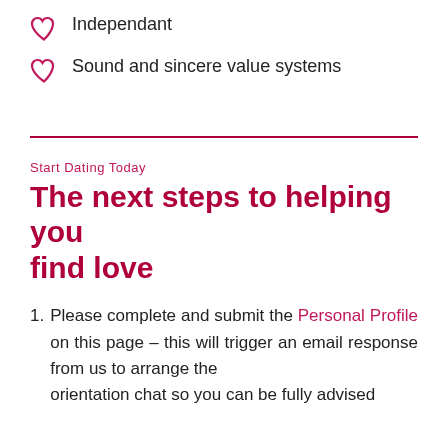Independant
Sound and sincere value systems
Start Dating Today
The next steps to helping you find love
Please complete and submit the Personal Profile on this page – this will trigger an email response from us to arrange the orientation chat so you can be fully advised